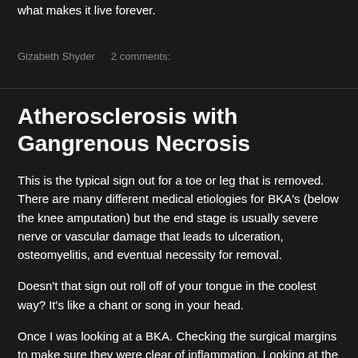what makes it live forever.
Gizabeth Shyder    2 comments:
Atherosclerosis with Gangrenous Necrosis
This is the typical sign out for a toe or leg that is removed. There are many different medical etiologies for BKA's (below the knee amputation) but the end stage is usually severe nerve or vascular damage that leads to ulceration, osteomyelitis, and eventual necessity for removal.
Doesn't that sign out roll off of your tongue in the coolest way? It's like a chant or song in your head.
Once I was looking at a BKA. Checking the surgical margins to make sure they were clear of inflammation. Looking at the vessels to assess for degree of atherosclerosis. Viewing the